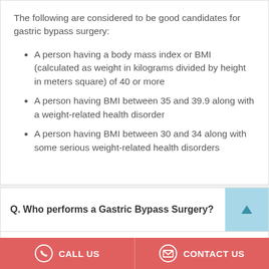The following are considered to be good candidates for gastric bypass surgery:
A person having a body mass index or BMI (calculated as weight in kilograms divided by height in meters square) of 40 or more
A person having BMI between 35 and 39.9 along with a weight-related health disorder
A person having BMI between 30 and 34 along with some serious weight-related health disorders
Q. Who performs a Gastric Bypass Surgery?
Gastric bypass surgery is performed by a bariatric surgeon.
CALL US   CONTACT US